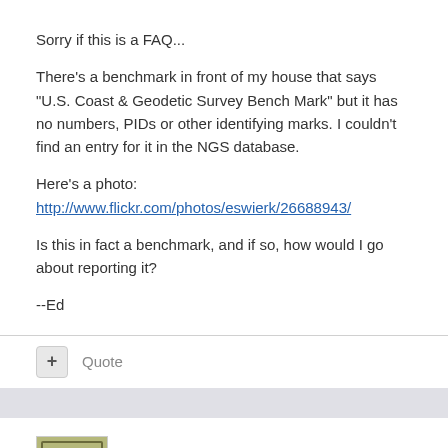Sorry if this is a FAQ...
There's a benchmark in front of my house that says "U.S. Coast & Geodetic Survey Bench Mark" but it has no numbers, PIDs or other identifying marks. I couldn't find an entry for it in the NGS database.
Here's a photo: http://www.flickr.com/photos/eswierk/26688943/
Is this in fact a benchmark, and if so, how would I go about reporting it?
--Ed
Quote
+Black Dog Trackers
Posted July 18, 2005